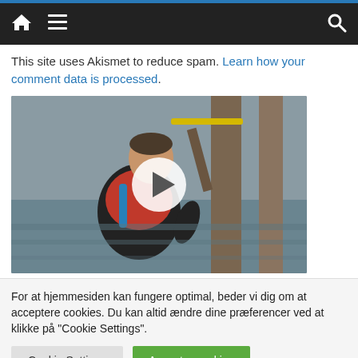Navigation bar with home, menu, and search icons
This site uses Akismet to reduce spam. Learn how your comment data is processed.
[Figure (photo): A man wearing a red life jacket and black wetsuit in water near a wooden pier dock structure, with a play button overlay indicating a video thumbnail]
For at hjemmesiden kan fungere optimal, beder vi dig om at acceptere cookies. Du kan altid ændre dine præferencer ved at klikke på "Cookie Settings".
Cookie Settings   Accepter cookies